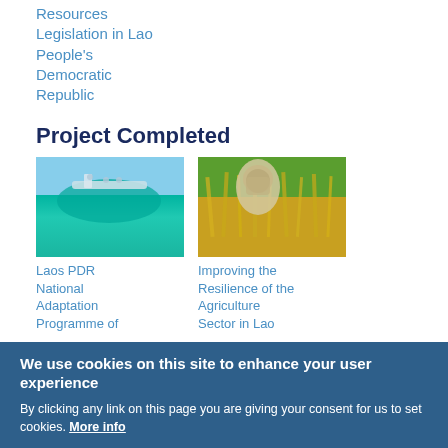Resources
Legislation in Lao People's Democratic Republic
Project Completed
[Figure (photo): Underwater/ocean scene with a boat and people visible above the waterline, teal-green water below]
Laos PDR National Adaptation Programme of
[Figure (photo): Person in a headscarf standing in a golden rice/grain field being harvested]
Improving the Resilience of the Agriculture Sector in Lao
We use cookies on this site to enhance your user experience
By clicking any link on this page you are giving your consent for us to set cookies. More info